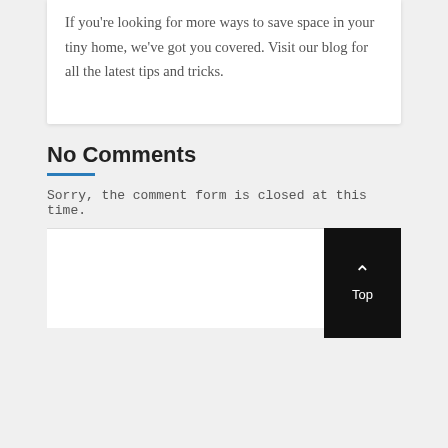If you're looking for more ways to save space in your tiny home, we've got you covered. Visit our blog for all the latest tips and tricks.
No Comments
Sorry, the comment form is closed at this time.